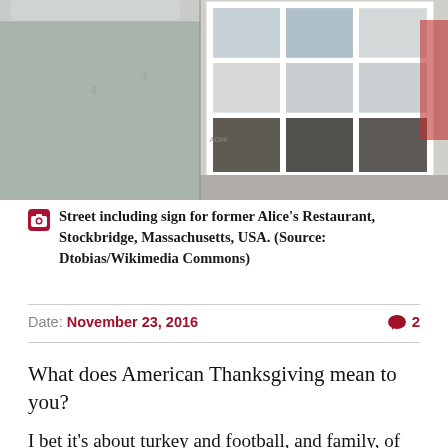[Figure (photo): Street photo showing the exterior of a building with a sign for former Alice's Restaurant, Stockbridge, Massachusetts, USA. Left half shows a gray/green painted wall; right half shows a white-framed window storefront.]
Street including sign for former Alice's Restaurant, Stockbridge, Massachusetts, USA. (Source: Dtobias/Wikimedia Commons)
Date: November 23, 2016   💬 2
What does American Thanksgiving mean to you?
I bet it's about turkey and football, and family, of course, for many people.